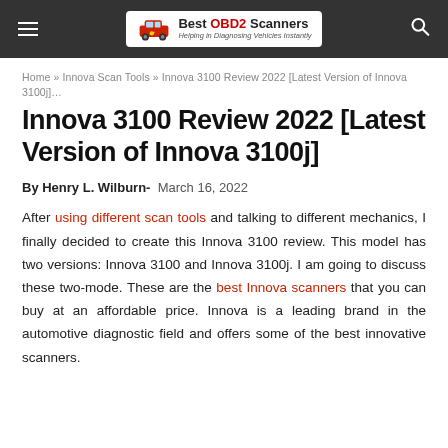Best OBD2 Scanners – Helping in Diagnosing Vehicles Instantly
Home » Innova Scan Tools » Innova 3100 Review 2022 [Latest Version of Innova 3100j]…
Innova 3100 Review 2022 [Latest Version of Innova 3100j]
By Henry L. Wilburn- March 16, 2022
After using different scan tools and talking to different mechanics, I finally decided to create this Innova 3100 review. This model has two versions: Innova 3100 and Innova 3100j. I am going to discuss these two-mode. These are the best Innova scanners that you can buy at an affordable price. Innova is a leading brand in the automotive diagnostic field and offers some of the best innovative scanners.